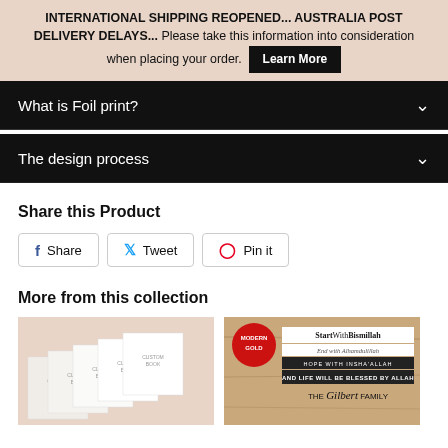INTERNATIONAL SHIPPING REOPENED... AUSTRALIA POST DELIVERY DELAYS... Please take this information into consideration when placing your order. [Learn More]
What is Foil print?
The design process
Share this Product
Share
Tweet
Pin it
More from this collection
[Figure (photo): Multiple stacked white custom books labeled CUSTOM BOOK on a beige/pink background]
[Figure (photo): A book product with wooden background, red badge reading MODERN GOLD, text: StartWithBismillah, End with Alhamdulillah, Hope with Insha Allah, AND LIFE WILL BE BLESSED BY ALLAH, THE Gilbert FAMILY]